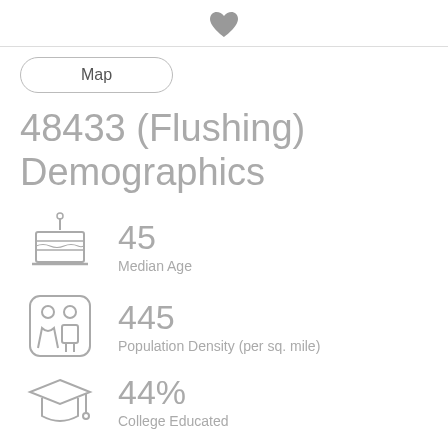♥
Map
48433 (Flushing) Demographics
45
Median Age
445
Population Density (per sq. mile)
44%
College Educated